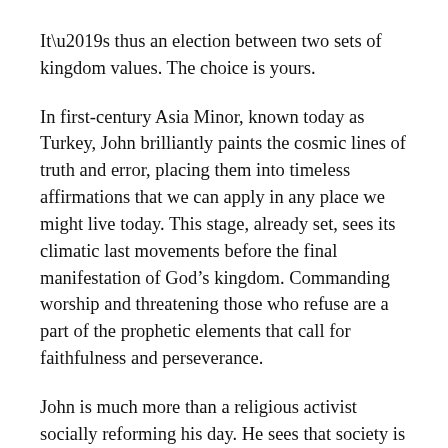It’s thus an election between two sets of kingdom values. The choice is yours.
In first-century Asia Minor, known today as Turkey, John brilliantly paints the cosmic lines of truth and error, placing them into timeless affirmations that we can apply in any place we might live today. This stage, already set, sees its climatic last movements before the final manifestation of God’s kingdom. Commanding worship and threatening those who refuse are a part of the prophetic elements that call for faithfulness and perseverance.
John is much more than a religious activist socially reforming his day. He sees that society is perpetually under siege by cosmic forces that oppose the way God has been revealed by the Lamb that was killed with violence (5:6). Perseverance and faithfulness are the ways God chooses to accomplish His purposes. This